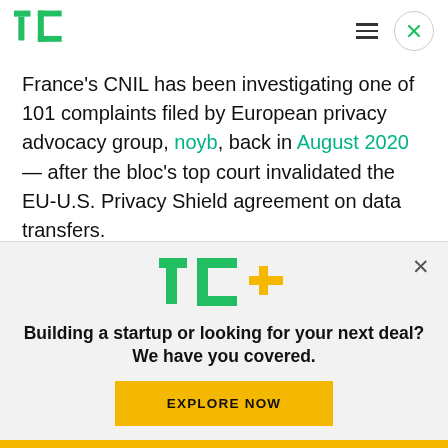TechCrunch logo, hamburger menu, close button
France's CNIL has been investigating one of 101 complaints filed by European privacy advocacy group, noyb, back in August 2020 — after the bloc's top court invalidated the EU-U.S. Privacy Shield agreement on data transfers.
Since then (indeed, long before) the legality of
[Figure (logo): TechCrunch TC+ logo in green with orange plus sign]
Building a startup or looking for your next deal? We have you covered.
EXPLORE NOW